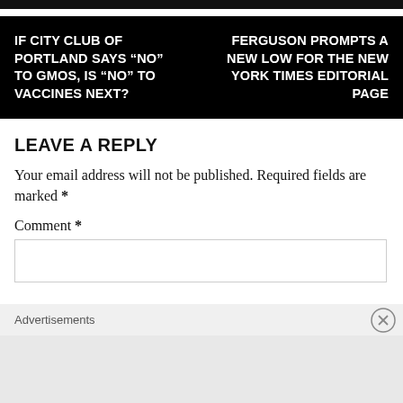IF CITY CLUB OF PORTLAND SAYS “NO” TO GMOS, IS “NO” TO VACCINES NEXT?
FERGUSON PROMPTS A NEW LOW FOR THE NEW YORK TIMES EDITORIAL PAGE
LEAVE A REPLY
Your email address will not be published. Required fields are marked *
Comment *
Advertisements